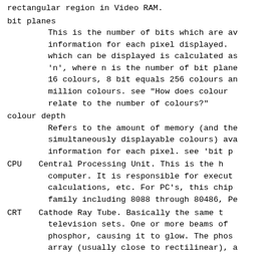rectangular region in Video RAM.
bit planes
    This is the number of bits which are available to store information for each pixel displayed. which can be displayed is calculated as 'n', where n is the number of bit planes. 16 colours, 8 bit equals 256 colours and million colours.  see "How does colour relate to the number of colours?"
colour depth
    Refers to the amount of memory (and the simultaneously displayable colours) available for information for each pixel.  see 'bit p
CPU    Central Processing Unit.  This is the h computer.  It is responsible for execut calculations, etc.  For PC's, this chip family including 8088 through 80486, Pe
CRT    Cathode Ray Tube.  Basically the same t television sets.  One or more beams of phosphor, causing it to glow.  The phos array (usually close to rectilinear), a